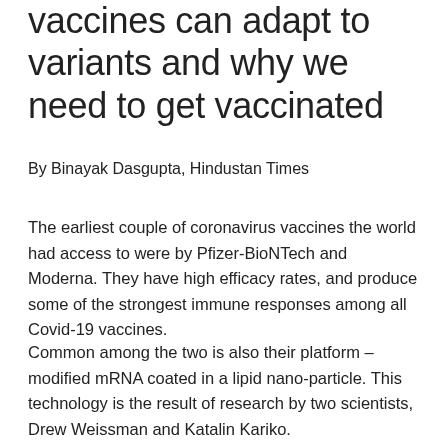vaccines can adapt to variants and why we need to get vaccinated
By Binayak Dasgupta, Hindustan Times
The earliest couple of coronavirus vaccines the world had access to were by Pfizer-BioNTech and Moderna. They have high efficacy rates, and produce some of the strongest immune responses among all Covid-19 vaccines.
Common among the two is also their platform – modified mRNA coated in a lipid nano-particle. This technology is the result of research by two scientists, Drew Weissman and Katalin Kariko.